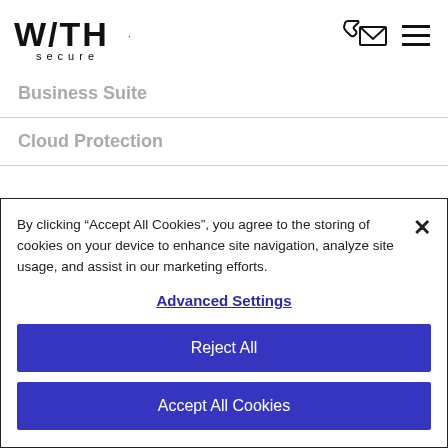[Figure (logo): WithSecure logo — stylized W/TH text on top line with 'secure' below in small caps]
Business Suite
Cloud Protection
By clicking “Accept All Cookies”, you agree to the storing of cookies on your device to enhance site navigation, analyze site usage, and assist in our marketing efforts.
Advanced Settings
Reject All
Accept All Cookies